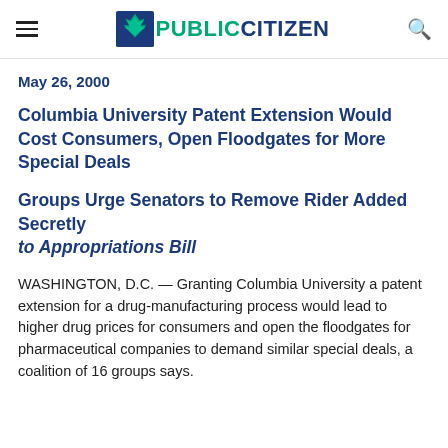PUBLIC CITIZEN
May 26, 2000
Columbia University Patent Extension Would Cost Consumers, Open Floodgates for More Special Deals
Groups Urge Senators to Remove Rider Added Secretly to Appropriations Bill
WASHINGTON, D.C. — Granting Columbia University a patent extension for a drug-manufacturing process would lead to higher drug prices for consumers and open the floodgates for pharmaceutical companies to demand similar special deals, a coalition of 16 groups says.